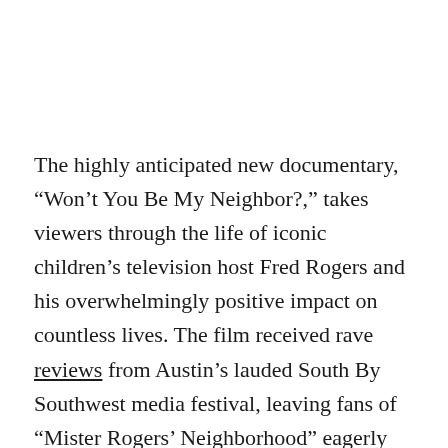The highly anticipated new documentary, “Won’t You Be My Neighbor?,” takes viewers through the life of iconic children’s television host Fred Rogers and his overwhelmingly positive impact on countless lives. The film received rave reviews from Austin’s lauded South By Southwest media festival, leaving fans of “Mister Rogers’ Neighborhood” eagerly awaiting the movie’s summer release. “Won’t You Be My Neighbor?” should provide a much needed dose of wholesome, nostalgic entertainment about one of television’s most beloved and revolutionary personalities.